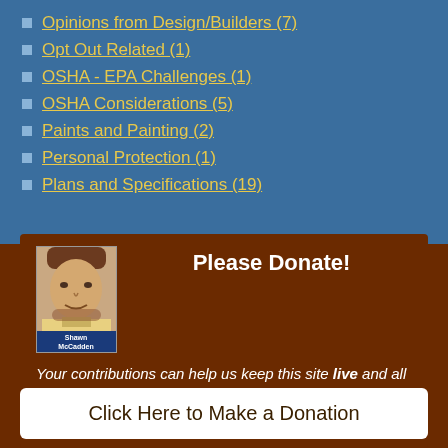Opinions from Design/Builders (7)
Opt Out Related (1)
OSHA - EPA Challenges (1)
OSHA Considerations (5)
Paints and Painting (2)
Personal Protection (1)
Plans and Specifications (19)
Please Donate!
Your contributions can help us keep this site live and all its resources available for contractors online!
Click Here to Make a Donation